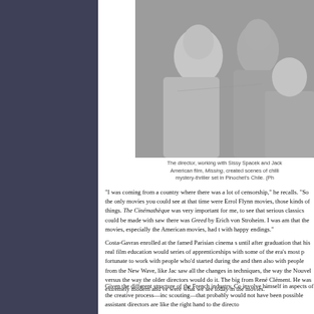[Figure (photo): Black and white photo of the director working with Sissy Spacek and Jack Lemmon on the set of Missing]
The director, working with Sissy Spacek and Jack Lemmon on his first American film, Missing, created scenes of chilling authenticity in the mystery-thriller set in Pinochet's Chile. (Ph
"I was coming from a country where there was a lot of censorship," he recalls. "So the only movies you could see at that time were Errol Flynn movies, those kinds of things. The Cinémathèque was very important for me, to see that serious classics could be made with good stories. I saw there was Greed by Erich von Stroheim. I was amazed to discover that the movies, especially the American movies, had to end. To end with happy endings."
Costa-Gavras enrolled at the famed Parisian cinema school IDHEC, but it was until after graduation that his real film education would begin, through a series of apprenticeships with some of the era's most prominent directors. "I was fortunate to work with people who'd started during the classic period of cinema, and then also with people from the New Wave, like Jacques Demy. So I saw all the changes in techniques, the way the Nouvelle Vague was doing it versus the way the older directors would do it. The biggest lesson I learned was from René Clément. He was extremely modern and very precise, and his methods were what we see today in the movies."
Given the different structure of the French industry, Costa-Gavras could involve himself in aspects of the creative process—including location scouting—that probably would not have been possible in Hollywood. "The assistant directors are like the right hand to the directo